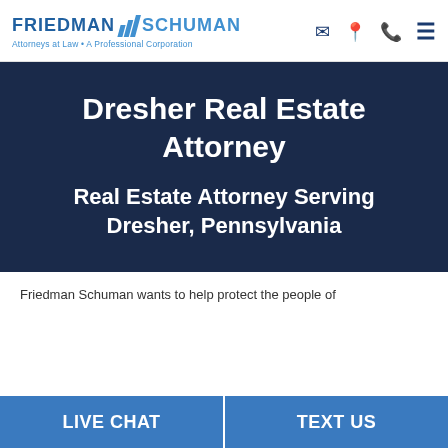[Figure (logo): Friedman Schuman law firm logo with blue diagonal bars and text 'Attorneys at Law • A Professional Corporation']
Dresher Real Estate Attorney
Real Estate Attorney Serving Dresher, Pennsylvania
Friedman Schuman wants to help protect the people of